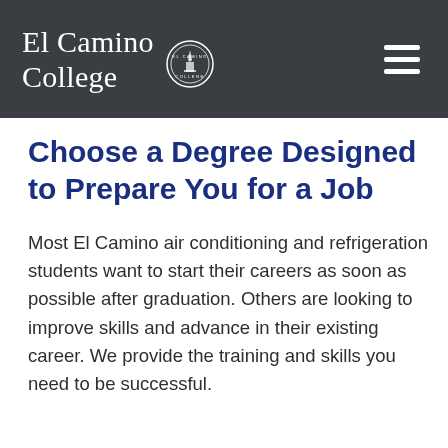El Camino College
Choose a Degree Designed to Prepare You for a Job
Most El Camino air conditioning and refrigeration students want to start their careers as soon as possible after graduation. Others are looking to improve skills and advance in their existing career. We provide the training and skills you need to be successful.